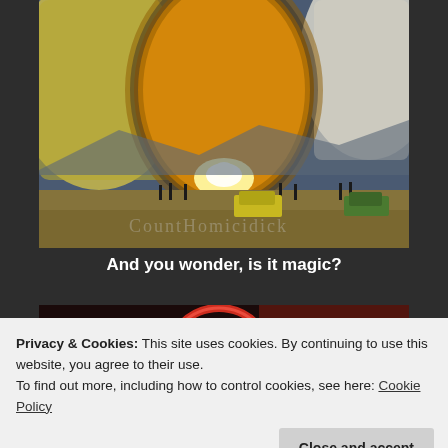[Figure (photo): Hot air balloons on a field at dusk, one balloon illuminated with bright flame in center, people and vehicles visible on ground, mountains in background. Watermark text visible at bottom of image.]
And you wonder, is it magic?
[Figure (photo): Dark image with a circular neon/glowing red ring shape and dark reddish tones partially visible behind the cookie banner.]
Privacy & Cookies: This site uses cookies. By continuing to use this website, you agree to their use.
To find out more, including how to control cookies, see here: Cookie Policy
Close and accept